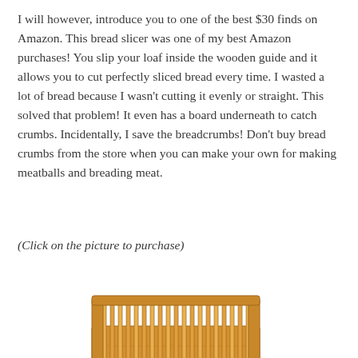I will however, introduce you to one of the best $30 finds on Amazon. This bread slicer was one of my best Amazon purchases! You slip your loaf inside the wooden guide and it allows you to cut perfectly sliced bread every time. I wasted a lot of bread because I wasn't cutting it evenly or straight. This solved that problem! It even has a board underneath to catch crumbs. Incidentally, I save the breadcrumbs! Don't buy bread crumbs from the store when you can make your own for making meatballs and breading meat.
(Click on the picture to purchase)
[Figure (photo): A wooden bamboo bread slicer with vertical slat guides and a flat tray base, photographed on a white background.]